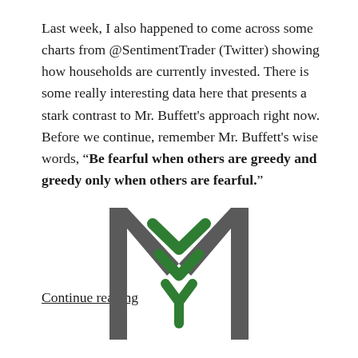Last week, I also happened to come across some charts from @SentimentTrader (Twitter) showing how households are currently invested. There is some really interesting data here that presents a stark contrast to Mr. Buffett's approach right now. Before we continue, remember Mr. Buffett's wise words, “Be fearful when others are greedy and greedy only when others are fearful.”
Continue reading
[Figure (logo): Stylized M logo with green chevron/wheat motif inside dark gray letter M outline]